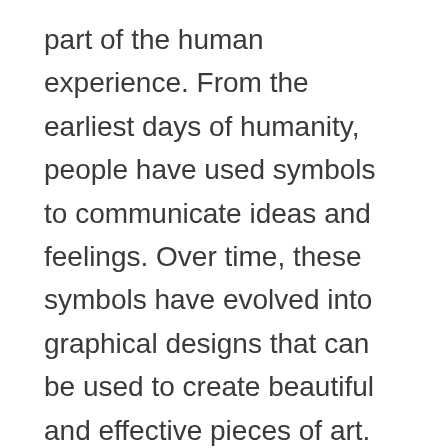part of the human experience. From the earliest days of humanity, people have used symbols to communicate ideas and feelings. Over time, these symbols have evolved into graphical designs that can be used to create beautiful and effective pieces of art.
Graphic design has a long and varied history, dating back to cave paintings. Early humans were likely using symbols to communicate ideas and feelings, much in the same way that designers use graphical designs today. As society progressed, more sophisticated